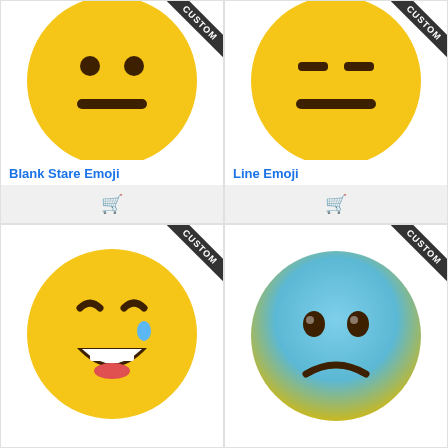[Figure (illustration): Blank Stare Emoji – yellow circle face with two round dark brown eyes and a flat horizontal mouth, 'CUSTOM' ribbon banner in top-right corner]
Blank Stare Emoji
[Figure (illustration): Line Emoji – yellow circle face with two short horizontal dash eyes and a flat horizontal mouth, 'CUSTOM' ribbon banner in top-right corner]
Line Emoji
[Figure (illustration): Laughing with tear emoji – yellow circle face with squinted laughing eyes, open smiling mouth with teeth, and a blue teardrop, 'CUSTOM' ribbon banner in top-right corner]
[Figure (illustration): Blue/teal gradient sad face emoji – blue-to-yellow gradient circle face with teary oval eyes, frowning expression, 'CUSTOM' ribbon banner in top-right corner]